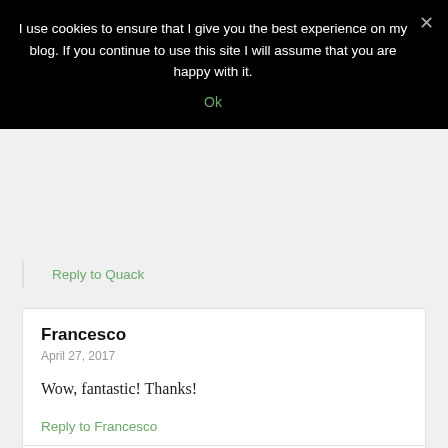I use cookies to ensure that I give you the best experience on my blog. If you continue to use this site I will assume that you are happy with it.
Ok
Reply to Quack
Francesco
April 27, 2017
Wow, fantastic! Thanks!
Reply to Francesco